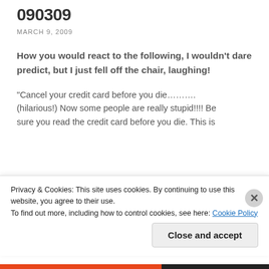090309
MARCH 9, 2009
How you would react to the following, I wouldn't dare predict, but I just fell off the chair, laughing!
“Cancel your credit card before you die………. (hilarious!) Now some people are really stupid!!!! Be sure you read the credit card before you die. This is
Privacy & Cookies: This site uses cookies. By continuing to use this website, you agree to their use.
To find out more, including how to control cookies, see here: Cookie Policy
Close and accept